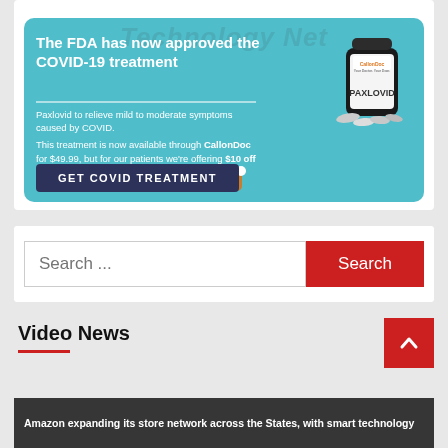[Figure (infographic): CallonDoc advertisement for FDA-approved COVID-19 Paxlovid treatment. Teal background with pill bottle image. Offers $10 off with promo code COVID19 through June 15th. Includes GET COVID TREATMENT button.]
[Figure (screenshot): Search bar with 'Search ...' placeholder text and red Search button]
Video News
Amazon expanding its store network across the States, with smart technology